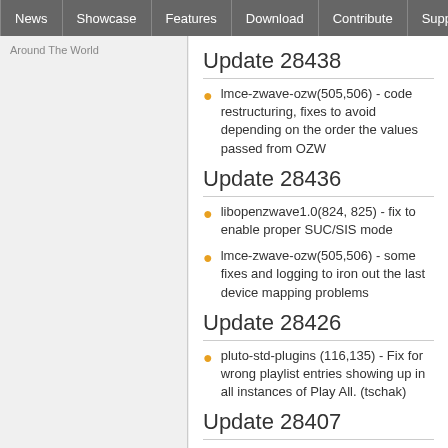News | Showcase | Features | Download | Contribute | Support
Around The World
Update 28438
lmce-zwave-ozw(505,506) - code restructuring, fixes to avoid depending on the order the values passed from OZW
Update 28436
libopenzwave1.0(824, 825) - fix to enable proper SUC/SIS mode
lmce-zwave-ozw(505,506) - some fixes and logging to iron out the last device mapping problems
Update 28426
pluto-std-plugins (116,135) - Fix for wrong playlist entries showing up in all instances of Play All. (tschak)
Update 28407